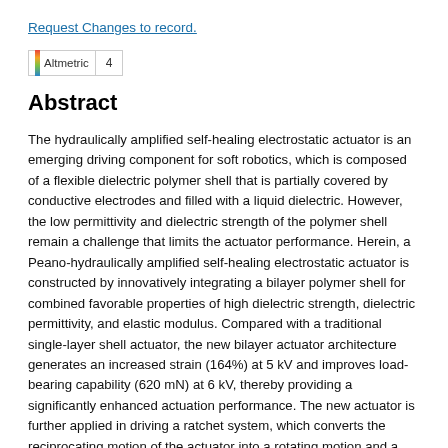Request Changes to record.
[Figure (logo): Altmetric badge showing score of 4]
Abstract
The hydraulically amplified self-healing electrostatic actuator is an emerging driving component for soft robotics, which is composed of a flexible dielectric polymer shell that is partially covered by conductive electrodes and filled with a liquid dielectric. However, the low permittivity and dielectric strength of the polymer shell remain a challenge that limits the actuator performance. Herein, a Peano-hydraulically amplified self-healing electrostatic actuator is constructed by innovatively integrating a bilayer polymer shell for combined favorable properties of high dielectric strength, dielectric permittivity, and elastic modulus. Compared with a traditional single-layer shell actuator, the new bilayer actuator architecture generates an increased strain (164%) at 5 kV and improves load-bearing capability (620 mN) at 6 kV, thereby providing a significantly enhanced actuation performance. The new actuator is further applied in driving a ratchet system, which converts the reciprocating motion of the actuator into a rotating motion and a flexible output torque, in order to protect the rotating components from impact. The high strain and load characteristics of the bilayer configuration and the easy-to-deform characteristics of the new actuator design make it an attractive approach to